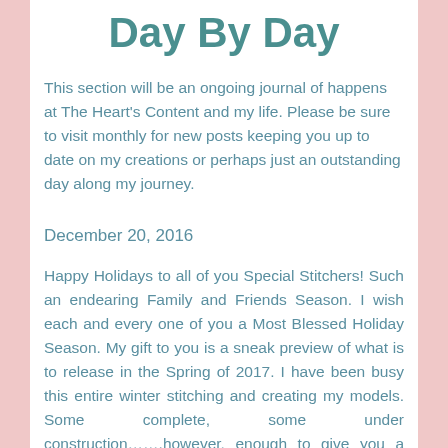Day By Day
This section will be an ongoing journal of happens at The Heart's Content and my life. Please be sure to visit monthly for new posts keeping you up to date on my creations or perhaps just an outstanding day along my journey.
December 20, 2016
Happy Holidays to all of you Special Stitchers! Such an endearing Family and Friends Season. I wish each and every one of you a Most Blessed Holiday Season. My gift to you is a sneak preview of what is to release in the Spring of 2017. I have been busy this entire winter stitching and creating my models. Some complete, some under construction…….however, enough to give you a glimpse of what it will be when it grows up. Enjoy !